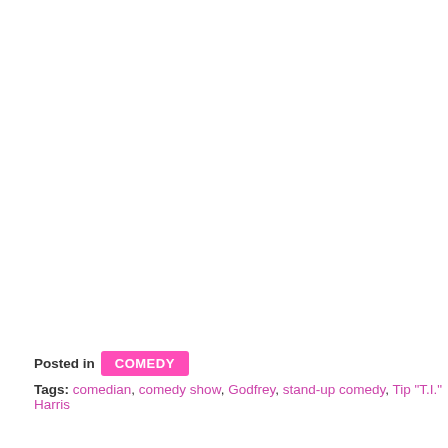Posted in COMEDY
Tags: comedian, comedy show, Godfrey, stand-up comedy, Tip "T.I." Harris